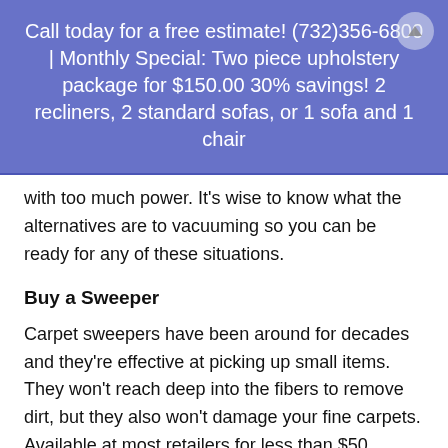Call today for a free estimate! (732)356-6800 | Monthly Special: Two piece upholstery package for $150.00 30% savings! 2 recliners, 2 standard sofas, or 1 sofa and 1 chair
with too much power. It's wise to know what the alternatives are to vacuuming so you can be ready for any of these situations.
Buy a Sweeper
Carpet sweepers have been around for decades and they're effective at picking up small items. They won't reach deep into the fibers to remove dirt, but they also won't damage your fine carpets. Available at most retailers for less than $50, they're also a budget-friendly solution.